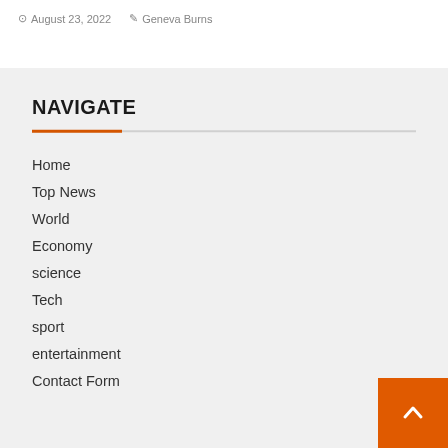August 23, 2022  Geneva Burns
NAVIGATE
Home
Top News
World
Economy
science
Tech
sport
entertainment
Contact Form